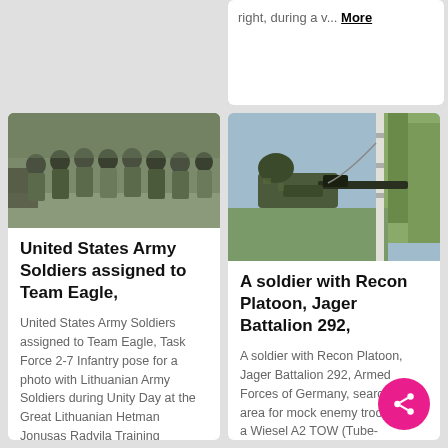right, during a v... More
[Figure (photo): Group of United States Army soldiers and Lithuanian Army soldiers posing for a photo outdoors]
United States Army Soldiers assigned to Team Eagle,
United States Army Soldiers assigned to Team Eagle, Task Force 2-7 Infantry pose for a photo with Lithuanian Army Soldiers during Unity Day at the Great Lithuanian Hetman Jonusas Radvila Training Regiment, in R... More
[Figure (photo): A soldier with Recon Platoon, Jager Battalion 292 looking through scope of a weapon from a Wiesel A2 TOW tracked vehicle]
A soldier with Recon Platoon, Jager Battalion 292,
A soldier with Recon Platoon, Jager Battalion 292, Armed Forces of Germany, searches the area for mock enemy troops from a Wiesel A2 TOW (Tube-launched, Optically tracked, Wire-guided) tracked vehicle during exer... M